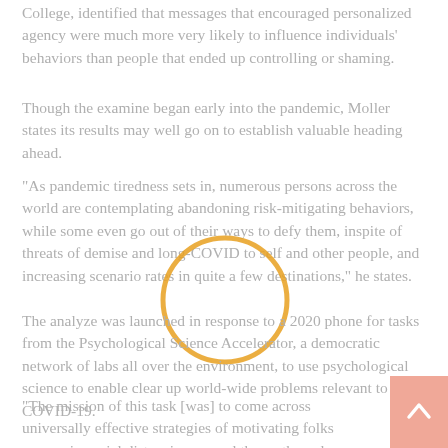College, identified that messages that encouraged personalized agency were much more very likely to influence individuals' behaviors than people that ended up controlling or shaming.
Though the examine began early into the pandemic, Moller states its results may well go on to establish valuable heading ahead.
“As pandemic tiredness sets in, numerous persons across the world are contemplating abandoning risk-mitigating behaviors, while some even go out of their ways to defy them, inspite of threats of demise and long-COVID to self and other people, and increasing scenario rates in quite a few destinations,” he states.
[Figure (other): Orange circle annotation overlaid on the text]
The analyze was launched in response to a 2020 phone for tasks from the Psychological Science Accelerator, a democratic network of labs all over the environment, to use psychological science to enable clear up world-wide problems relevant to COVID-19.
“The mission of this task [was] to come across universally effective strategies of motivating folks engage in social distancing around the earth, and see irrespective of whether there are unintended c of utilizing frequent motivational strategies like shaming and pressuring people today,” Legate states.